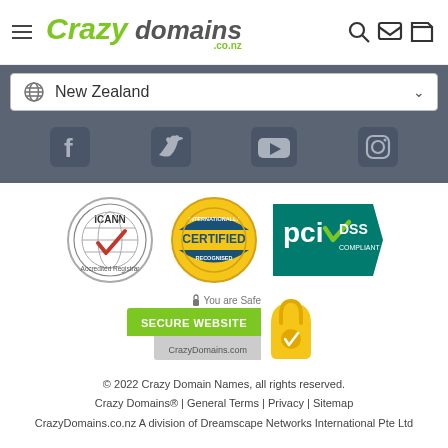[Figure (logo): Crazy Domains logo with hamburger menu, search and cart icons]
[Figure (screenshot): New Zealand country selector dropdown bar]
[Figure (screenshot): Social media icons: Facebook, Twitter, YouTube, Instagram on dark background]
[Figure (screenshot): Trust badges: ICANN Accredited Registrar, Internationally Certified Recognised, PCI DSS Compliant, and Secure Website with padlock]
© 2022 Crazy Domain Names, all rights reserved.
Crazy Domains® | General Terms | Privacy | Sitemap
CrazyDomains.co.nz A division of Dreamscape Networks International Pte Ltd